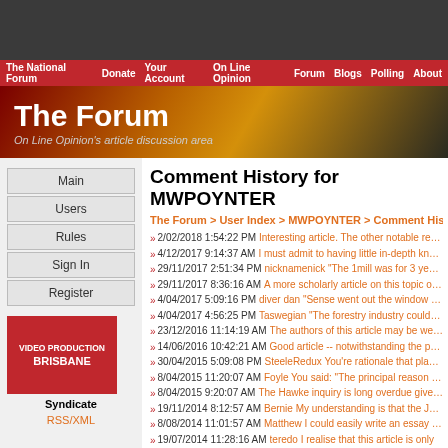The National Forum | Donate | Your Account | On Line Opinion | Forum | Blogs | Polling | About
The Forum
On Line Opinion's article discussion area
Comment History for MWPOYNTER
The Forum > User Index > MWPOYNTER > Comment Histo...
2/02/2018 1:54:22 PM Interesting article. The other notable recent...
4/12/2017 9:14:37 AM I must admit to having little in-depth knowled...
29/11/2017 2:51:34 PM nicknamenick "The 1mill was for 3 years in...
29/11/2017 8:36:16 AM A more scholarly article on this topic of Que...
4/04/2017 5:09:16 PM diver dan "Sense went out the window with...
4/04/2017 4:56:25 PM Taswegian "The forestry industry could save...
23/12/2016 11:14:19 AM The authors of this article may be well inte...
14/06/2016 10:42:21 AM Good article -- notwithstanding the probler...
30/04/2015 5:09:08 PM SteeleRedux You're rationale that plantatio...
8/04/2015 11:20:07 AM Foyle You said: "The principal reason that e...
8/04/2015 9:20:07 AM The Hawke inquiry is long overdue given tha...
19/11/2014 8:12:57 AM Bernie My understanding is that the Japane...
8/08/2014 11:01:57 AM Matthew I could easily write an essay of sir...
19/07/2014 11:28:16 AM teredo I realise that this article is only...